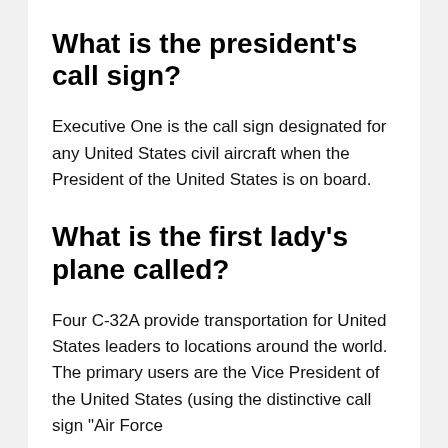What is the president's call sign?
Executive One is the call sign designated for any United States civil aircraft when the President of the United States is on board.
What is the first lady's plane called?
Four C-32A provide transportation for United States leaders to locations around the world. The primary users are the Vice President of the United States (using the distinctive call sign "Air Force